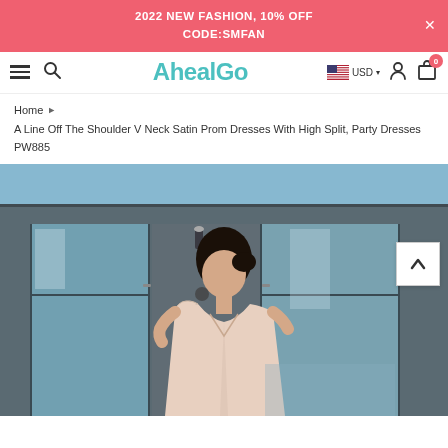2022 NEW FASHION, 10% OFF
CODE:SMFAN
[Figure (screenshot): Navigation bar with hamburger menu, search icon, AhealGo logo in teal, US flag with USD currency selector, user account icon, and cart icon with badge showing 0]
Home ▶ A Line Off The Shoulder V Neck Satin Prom Dresses With High Split, Party Dresses PW885
[Figure (photo): Product photo of a woman wearing an off-shoulder pale pink/champagne satin prom dress, standing in front of a modern building with glass doors and blue sky background. A scroll-to-top arrow button appears in the upper right of the image.]